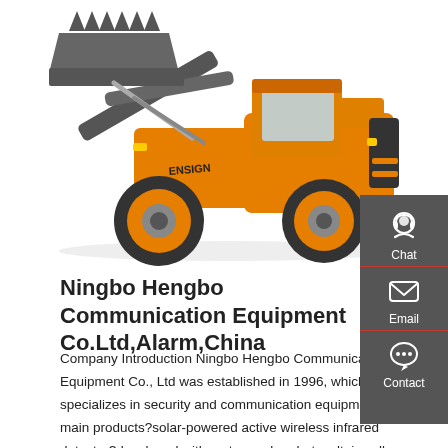[Figure (photo): Orange ENSIGN wheel loader construction vehicle photographed on white background, with bucket raised]
Ningbo Hengbo Communication Equipment Co.Ltd,Alarm,China
Company Introduction Ningbo Hengbo Communications Equipment Co., Ltd was established in 1996, which specializes in security and communication equipments. Our main products?solar-powered active wireless infrared detector?developed with mature solar photovoltaic cell